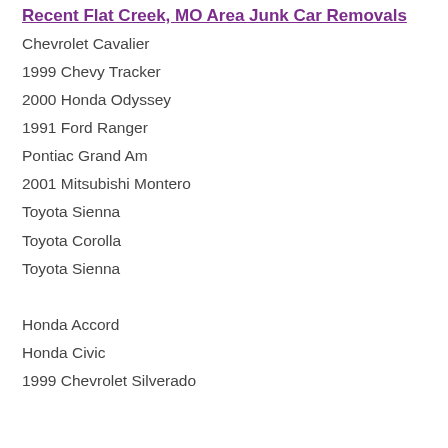Recent Flat Creek, MO Area Junk Car Removals
Chevrolet Cavalier
1999 Chevy Tracker
2000 Honda Odyssey
1991 Ford Ranger
Pontiac Grand Am
2001 Mitsubishi Montero
Toyota Sienna
Toyota Corolla
Toyota Sienna
Honda Accord
Honda Civic
1999 Chevrolet Silverado